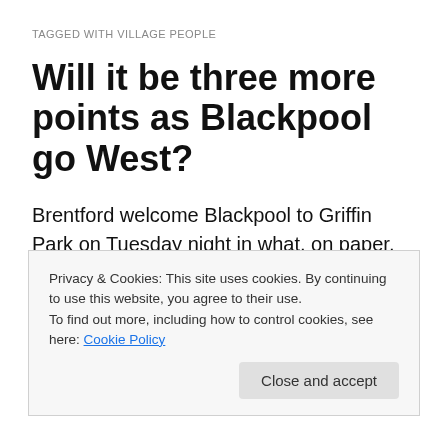TAGGED WITH VILLAGE PEOPLE
Will it be three more points as Blackpool go West?
Brentford welcome Blackpool to Griffin Park on Tuesday night in what, on paper, seems an excellent chance to continue on our winning way after Saturday’s splendid 3-1 victory over Bournemouth. With the Tangerines already 12 points adrift of Championship safety and managed as
Privacy & Cookies: This site uses cookies. By continuing to use this website, you agree to their use.
To find out more, including how to control cookies, see here: Cookie Policy
Close and accept